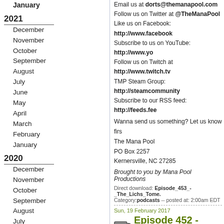January
2021
December
November
October
September
August
July
June
May
April
March
February
January
2020
December
November
October
September
August
July
June
May
April
March
February
January
2019
December
November
Email us at dorts@themanapool.com
Follow us on Twitter at @TheManaPool
Like us on Facebook: http://www.facebook...
Subscribe to us on YouTube: http://www.yo...
Follow us on Twitch at http://www.twitch.tv...
TMP Steam Group: http://steamcommunity...
Subscribe to our RSS feed: http://feeds.fee...
Wanna send us something? Let us know first!
The Mana Pool
PO Box 2257
Kernersville, NC 27285
Brought to you by Mana Pool Productions
Direct download: Episode_453_-_The_Lichs_Tome...
Category: podcasts -- posted at: 2:00am EDT
Sun, 19 February 2017
Episode 452 - Partn...
This episode begins with an extremely quick... lvl99luck. Little did he know that it would play... coincidence! Buy lottery tickets now!
After the awesome Mad Lib we're doing a ne... legends with Partner and building a deck aro... ideas to build around. Let us know what you...
Somehow at the end we ended up going off... another tangent about Overwatch that, oddly...